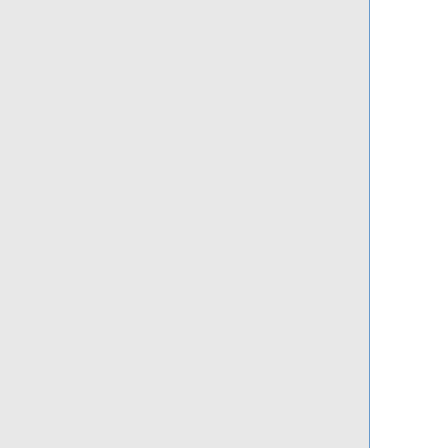+|-
+ |{{tl|user vibrator}}||{{user vibrator}}
+|-
+ |{{tl|user butt plug}}||{{user butt plug}}
+|-
+ |{{tl|user anal beads}}||{{user anal beads}}
+|-
+ |{{tl|user fucking machine}}||{{user fucking machine}}
+|-
+ |{{tl|user strap-on}}||{{user strap-on}}
+|-
+ |{{tl|user butthook}}||{{user butthook}}
+|}